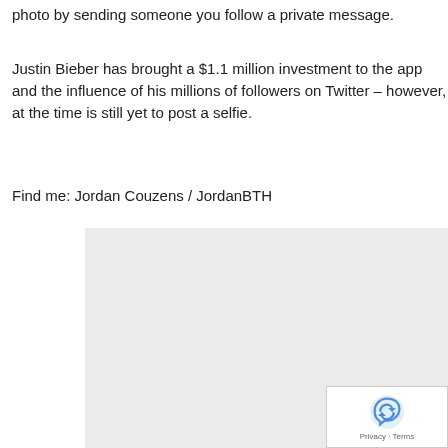photo by sending someone you follow a private message.
Justin Bieber has brought a $1.1 million investment to the app and the influence of his millions of followers on Twitter – however, at the time is still yet to post a selfie.
Find me: Jordan Couzens / JordanBTH
[Figure (screenshot): Light gray rectangular area representing an embedded widget or advertisement placeholder with a reCAPTCHA badge in the bottom-right corner showing the reCAPTCHA logo and Privacy - Terms text.]